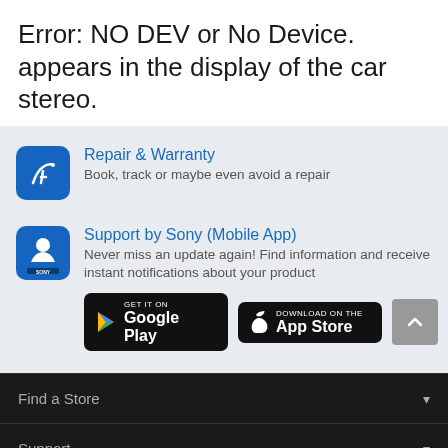Error: NO DEV or No Device. appears in the display of the car stereo.
Repair & Warranty
Book, track or maybe even avoid a repair
Support by Sony (Mobile App)
Never miss an update again! Find information and receive instant notifications about your product
[Figure (screenshot): Google Play and App Store download buttons, plus a scroll-up button]
Find a Store
Support